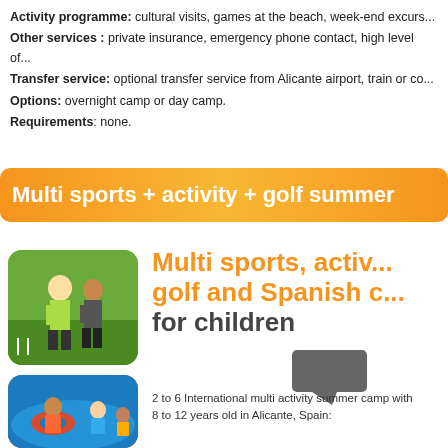Activity programme: cultural visits, games at the beach, week-end excursions...
Other services : private insurance, emergency phone contact, high level of...
Transfer service: optional transfer service from Alicante airport, train or co...
Options: overnight camp or day camp.
Requirements: none.
Multi sports + activity + golf summer
[Figure (photo): Two children playing sports on a green field]
Multi sports, activity, golf and Spanish classes for children
[Figure (photo): Children in a swimming pool with inflatables]
2 to 6 International multi activity summer camp with 8 to 12 years old in Alicante, Spain: